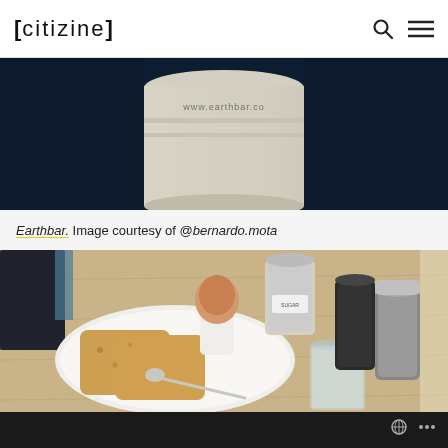[CITIZINE]
[Figure (photo): Close-up photo of an Earthbar smoothie cup on a dark navy background, showing www.earthbar.com text on the cup]
Earthbar. Image courtesy of @bernardo.mota
[Figure (photo): Overhead photo of a breakfast plate with a soft-boiled egg in an egg cup, sliced bread/toast, a spoon, a glass of water, salt and pepper shakers, and condiment jars on a wooden table]